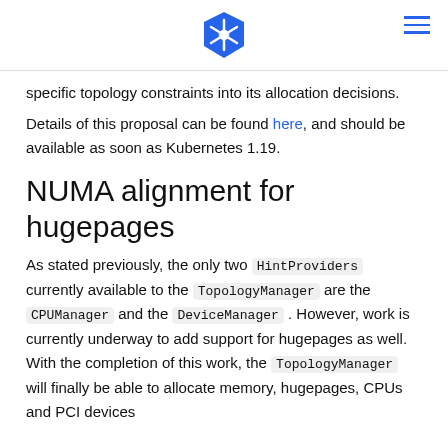[Kubernetes logo] [hamburger menu]
specific topology constraints into its allocation decisions.
Details of this proposal can be found here, and should be available as soon as Kubernetes 1.19.
NUMA alignment for hugepages
As stated previously, the only two HintProviders currently available to the TopologyManager are the CPUManager and the DeviceManager . However, work is currently underway to add support for hugepages as well. With the completion of this work, the TopologyManager will finally be able to allocate memory, hugepages, CPUs and PCI devices